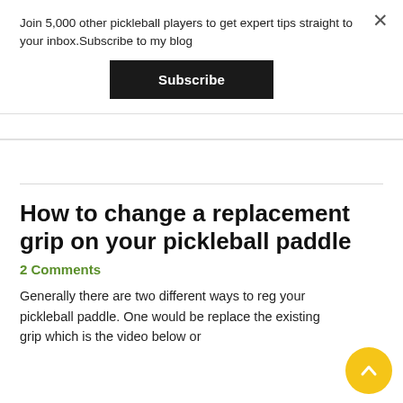Join 5,000 other pickleball players to get expert tips straight to your inbox.Subscribe to my blog
Subscribe
How to change a replacement grip on your pickleball paddle
2 Comments
Generally there are two different ways to reg your pickleball paddle. One would be replace the existing grip which is the video below or